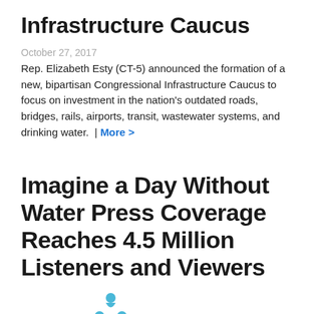Infrastructure Caucus
October 27, 2017
Rep. Elizabeth Esty (CT-5) announced the formation of a new, bipartisan Congressional Infrastructure Caucus to focus on investment in the nation's outdated roads, bridges, rails, airports, transit, wastewater systems, and drinking water.  | More >
Imagine a Day Without Water Press Coverage Reaches 4.5 Million Listeners and Viewers
[Figure (illustration): Blue triangular/pyramid shaped logo made of water droplet or person icons, partially visible at bottom of page]